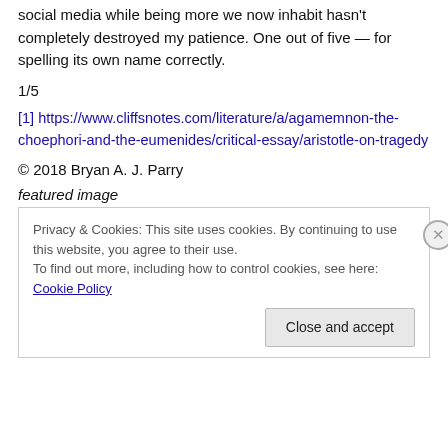social media while being more we now inhabit hasn't completely destroyed my patience. One out of five — for spelling its own name correctly.
1/5
[1] https://www.cliffsnotes.com/literature/a/agamemnon-the-choephori-and-the-eumenides/critical-essay/aristotle-on-tragedy
© 2018 Bryan A. J. Parry
featured image
Privacy & Cookies: This site uses cookies. By continuing to use this website, you agree to their use.
To find out more, including how to control cookies, see here: Cookie Policy